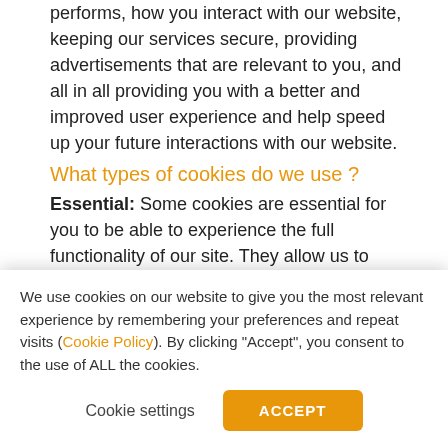performs, how you interact with our website, keeping our services secure, providing advertisements that are relevant to you, and all in all providing you with a better and improved user experience and help speed up your future interactions with our website.
What types of cookies do we use ?
Essential: Some cookies are essential for you to be able to experience the full functionality of our site. They allow us to maintain user...
We use cookies on our website to give you the most relevant experience by remembering your preferences and repeat visits (Cookie Policy). By clicking "Accept", you consent to the use of ALL the cookies.